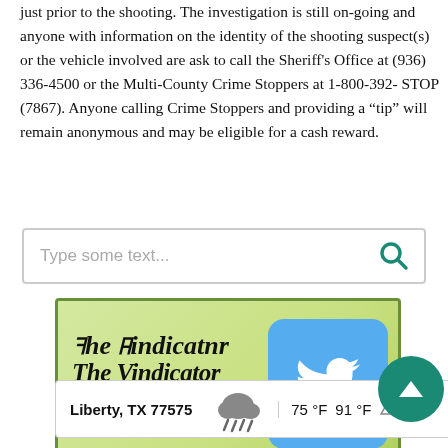just prior to the shooting. The investigation is still on-going and anyone with information on the identity of the shooting suspect(s) or the vehicle involved are ask to call the Sheriff's Office at (936) 336-4500 or the Multi-County Crime Stoppers at 1-800-392- STOP (7867). Anyone calling Crime Stoppers and providing a “tip” will remain anonymous and may be eligible for a cash reward.
[Figure (other): Search bar with placeholder text 'Type some text...' and a teal search magnifying glass icon on the right.]
[Figure (logo): The Vindicator newspaper logo with Twitter bird icon. Green gradient background with old-English style 'The Vindicator' text and blue bold 'Keep Up With Us on' text next to a Twitter bird icon in a rounded blue square.]
[Figure (other): Weather widget showing Liberty, TX 77575 with a rainy cloud icon, temperatures 75°F and 91°F, and a teal scroll-to-top button.]